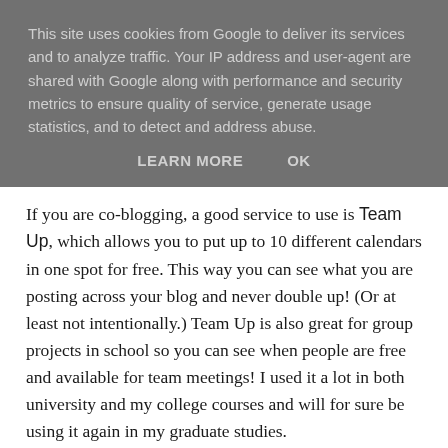This site uses cookies from Google to deliver its services and to analyze traffic. Your IP address and user-agent are shared with Google along with performance and security metrics to ensure quality of service, generate usage statistics, and to detect and address abuse.
LEARN MORE   OK
If you are co-blogging, a good service to use is Team Up, which allows you to put up to 10 different calendars in one spot for free. This way you can see what you are posting across your blog and never double up! (Or at least not intentionally.) Team Up is also great for group projects in school so you can see when people are free and available for team meetings! I used it a lot in both university and my college courses and will for sure be using it again in my graduate studies.
It takes 28 days to break a habit, but only 30 seconds to make one. Set an alarm for a time every day you KNOW you can work on your scheduling/organizing and do it then. It will help keep you organized -- even if you only do it for 5 minutes